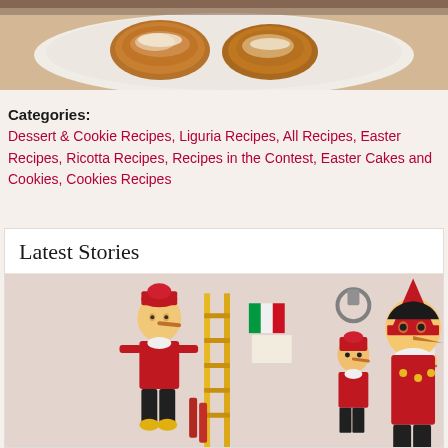[Figure (photo): Close-up photo of baked pastries/cookies on a white plate, dessert items]
Categories:
Dessert & Cookie Recipes, Liguria Recipes, All Recipes, Easter Recipes, Ricotta Recipes, Recipes in the Contest, Easter Cakes and Cookies, Cookies Recipes
Latest Stories
[Figure (photo): Photo of multiple Pinocchio wooden toy figures in various sizes, some with red hats, against a light background]